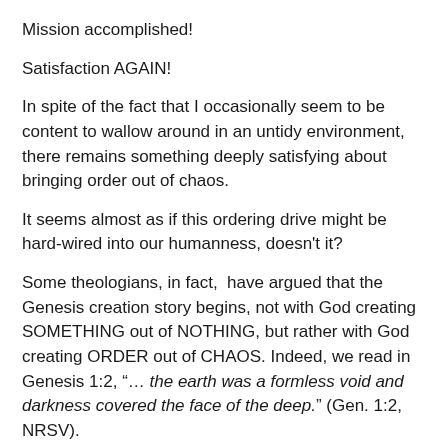Mission accomplished!
Satisfaction AGAIN!
In spite of the fact that I occasionally seem to be content to wallow around in an untidy environment, there remains something deeply satisfying about bringing order out of chaos.
It seems almost as if this ordering drive might be hard-wired into our humanness, doesn't it?
Some theologians, in fact,  have argued that the Genesis creation story begins, not with God creating SOMETHING out of NOTHING, but rather with God creating ORDER out of CHAOS. Indeed, we read in Genesis 1:2, “… the earth was a formless void and darkness covered the face of the deep.” (Gen. 1:2, NRSV).